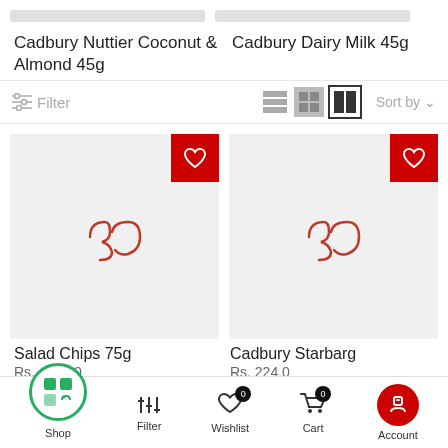Cadbury Nuttier Coconut & Almond 45g
Cadbury Dairy Milk 45g
[Figure (screenshot): E-commerce product listing page showing filter/sort bar, two product cards with wishlist buttons and loading spinners, product titles and prices, and bottom navigation bar with Shop, Filter, Wishlist, Cart, Account icons]
Salad Chips 75g
Rs. 429.00
Cadbury Starbar g
Rs. 224.0
Shop  Filter  Wishlist  Cart  Account